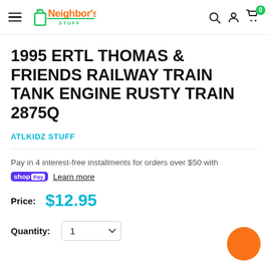[Figure (logo): My Neighbor's Stuff logo with shopping bag icon in green and orange]
1995 ERTL THOMAS & FRIENDS RAILWAY TRAIN TANK ENGINE RUSTY TRAIN 2875Q
ATLKIDZ STUFF
Pay in 4 interest-free installments for orders over $50 with
shopPay Learn more
Price: $12.95
Quantity: 1